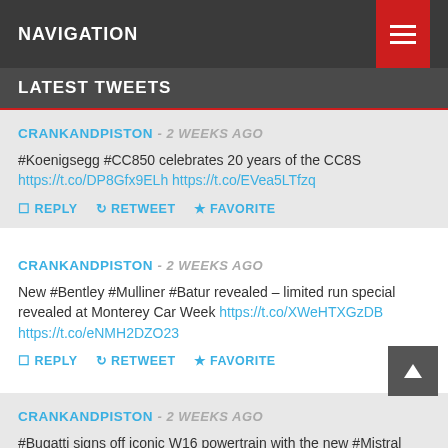NAVIGATION
LATEST TWEETS
CRANKANDPISTON - 2 WEEKS AGO
#Koenigsegg #CC850 celebrates 20 years of the CC8S https://t.co/DP8Gfx9ELh https://t.co/EVea5LTfzq
REPLY  RETWEET  FAVORITE
CRANKANDPISTON - 2 WEEKS AGO
New #Bentley #Mulliner #Batur revealed – limited run special revealed at Monterey Car Week https://t.co/XWeHTXGzDB https://t.co/eNMH2DZO23
REPLY  RETWEET  FAVORITE
CRANKANDPISTON - 2 WEEKS AGO
#Bugatti signs off iconic W16 powertrain with the new #Mistral